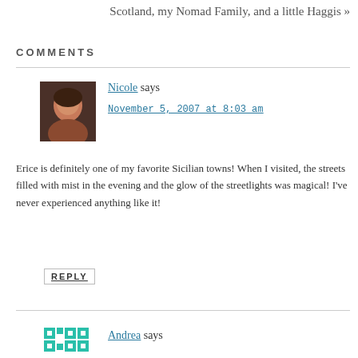Scotland, my Nomad Family, and a little Haggis »
COMMENTS
Nicole says
November 5, 2007 at 8:03 am
Erice is definitely one of my favorite Sicilian towns! When I visited, the streets filled with mist in the evening and the glow of the streetlights was magical! I've never experienced anything like it!
REPLY
Andrea says